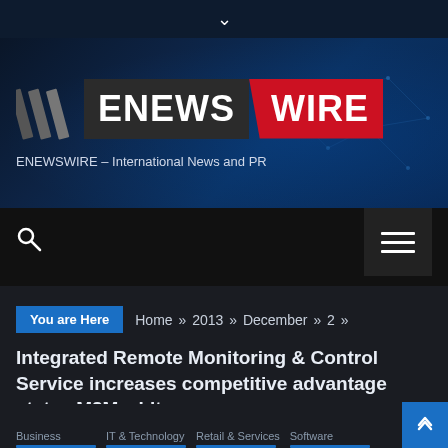[Figure (logo): ENEWSWIRE logo with slashes, dark background, red accent on WIRE text, tagline: ENEWSWIRE – International News and PR]
ENEWSWIRE – International News and PR
[Figure (screenshot): Navigation bar with search icon and hamburger menu button]
You are Here  Home » 2013 » December » 2 »
Integrated Remote Monitoring & Control Service increases competitive advantage states M2M whitepaper
Business  IT & Technology  Retail & Services  Software